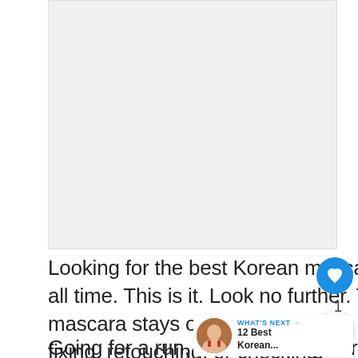[Figure (photo): Placeholder image area, light grey background]
Looking for the best Korean mascara of all time. This is it. Look no further. The mascara stays on all day long, no more fixing, retouching, or checking.
Going for a run, swim, or a regular walk and sweating a lot? Don't worry this